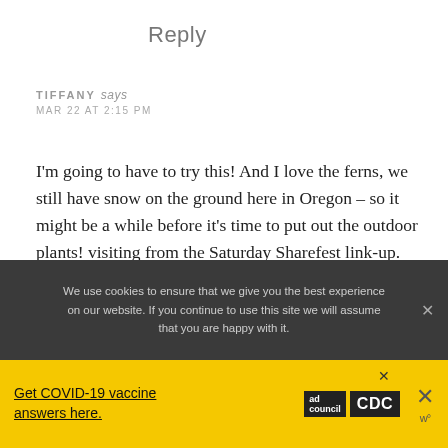Reply
TIFFANY says
MAR 22 AT 2:15 PM
I'm going to have to try this! And I love the ferns, we still have snow on the ground here in Oregon – so it might be a while before it's time to put out the outdoor plants! visiting from the Saturday Sharefest link-up. 🙂
We use cookies to ensure that we give you the best experience on our website. If you continue to use this site we will assume that you are happy with it.
Get COVID-19 vaccine answers here.